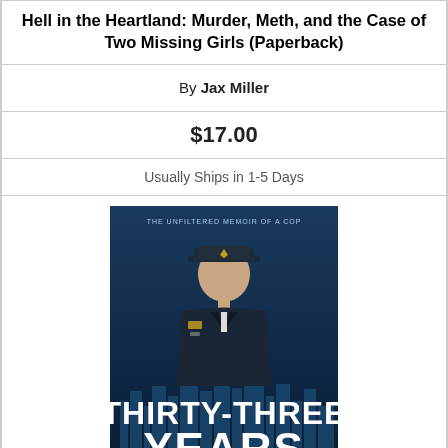Hell in the Heartland: Murder, Meth, and the Case of Two Missing Girls (Paperback)
By Jax Miller
$17.00
Usually Ships in 1-5 Days
[Figure (photo): Book cover: Thirty-Three Years: The Unfiltered Memoir of a Cop by Rob G. Rothwell. Dark blue cover with a police officer in uniform and city skyline.]
Thirty-Three Years: The Unfiltered Memoir of a Cop (Paperback)
By Rob G. Rothwell